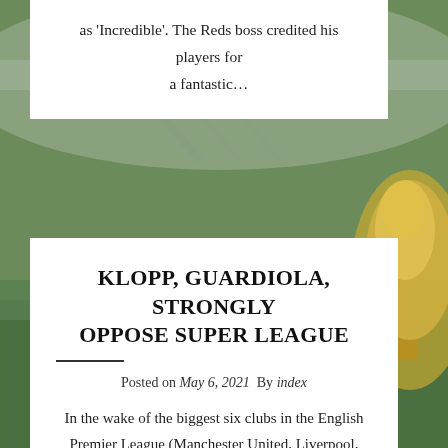as 'Incredible'. The Reds boss credited his players for a fantastic...
[Figure (photo): Stadium background photo with green grass field and a golden trophy visible on the right side]
KLOPP, GUARDIOLA, STRONGLY OPPOSE SUPER LEAGUE
Posted on May 6, 2021  By index
In the wake of the biggest six clubs in the English Premier League (Manchester United, Liverpool, Chelsea, Manchester City, Arsenal, and Tottenham) forming a group...